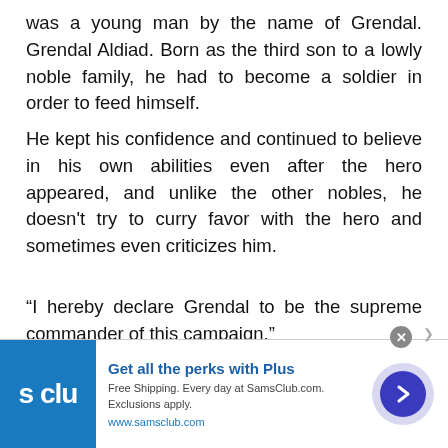was a young man by the name of Grendal. Grendal Aldiad. Born as the third son to a lowly noble family, he had to become a soldier in order to feed himself.
He kept his confidence and continued to believe in his own abilities even after the hero appeared, and unlike the other nobles, he doesn't try to curry favor with the hero and sometimes even criticizes him.
“I hereby declare Grendal to be the supreme commander of this campaign.”
The king had passed on a royal decree naming him supreme commander, but Grendal found the situation
[Figure (infographic): Advertisement banner for SamsClub.com showing the Sam's Club logo, headline 'Get all the perks with Plus', subtext 'Free Shipping. Every day at SamsClub.com. Exclusions apply.', URL 'www.samsclub.com', and a blue arrow button on a light purple circular background.]